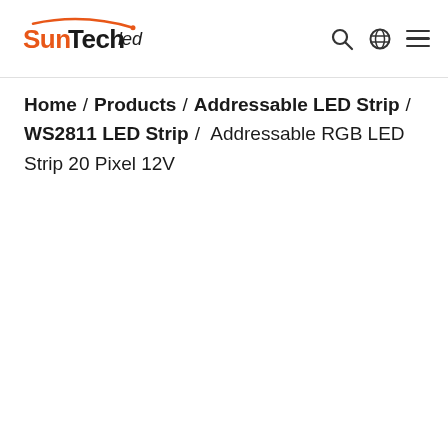SunTechLed — navigation header with logo, search, globe, and menu icons
Home / Products / Addressable LED Strip / WS2811 LED Strip / Addressable RGB LED Strip 20 Pixel 12V